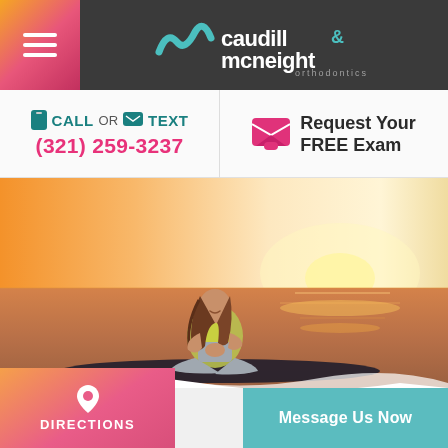[Figure (logo): Caudill & McNeight Orthodontics logo with teal wave icon on dark gray header bar with pink/orange hamburger menu button]
CALL OR TEXT
(321) 259-3237
Request Your FREE Exam
[Figure (photo): Young woman with long brown hair sitting cross-legged on a paddleboard on the water at sunset, wearing a yellow and gray wetsuit, smiling and looking to the side]
DIRECTIONS
Message Us Now